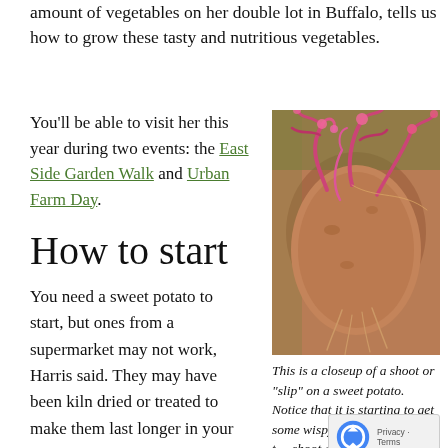amount of vegetables on her double lot in Buffalo, tells us how to grow these tasty and nutritious vegetables.
You'll be able to visit her this year during two events: the East Side Garden Walk and Urban Farm Day.
How to start
You need a sweet potato to start, but ones from a supermarket may not work, Harris said. They may have been kiln dried or treated to make them last longer in your cupboard, but that inhibits growth. It's best to start with an organic sweet potato.
[Figure (photo): Closeup photograph of a sweet potato with pink/purple shoots or slips growing from it, showing wispy roots beginning to form.]
This is a closeup of a shoot or "slip" on a sweet potato. Notice that it is starting to get some wispy roots. Wait until the shoot gets at least three inches tall. Then pull the off the sweet potato and place